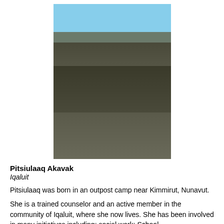[Figure (photo): A person wearing traditional Inuit fur clothing and sunglasses, smiling outdoors in a snowy/arctic environment with blue sky in the background.]
Pitsiulaaq Akavak
Iqaluit
Pitsiulaaq was born in an outpost camp near Kimmirut, Nunavut.
She is a trained counselor and an active member in the community of Iqaluit, where she now lives. She has been involved in many initiatives including: social work; School